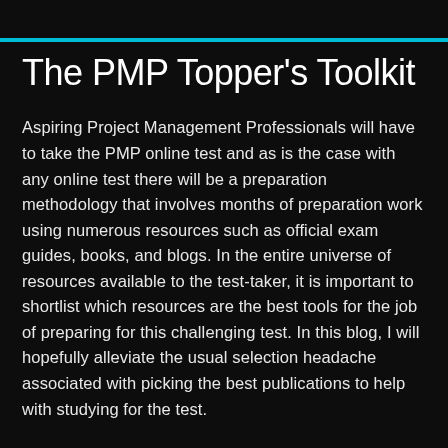The PMP Topper's Toolkit
Aspiring Project Management Professionals will have to take the PMP online test and as is the case with any online test there will be a preparation methodology that involves months of preparation work using numerous resources such as official exam guides, books, and blogs. In the entire universe of resources available to the test-taker, it is important to shortlist which resources are the best tools for the job of preparing for this challenging test. In this blog, I will hopefully alleviate the usual selection headache associated with picking the best publications to help with studying for the test.
A must-have resource and a good starting point for the preparation process is the Project